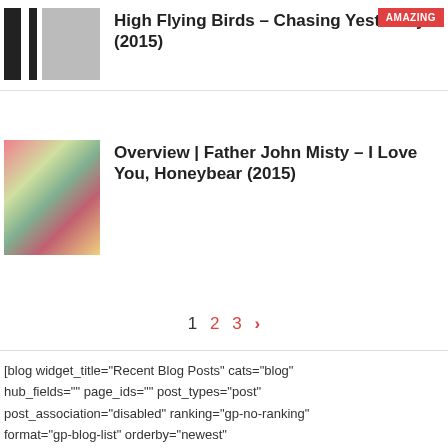High Flying Birds – Chasing Yesterday (2015)
Overview | Father John Misty – I Love You, Honeybear (2015)
1  2  3  >
[blog widget_title="Recent Blog Posts" cats="blog" hub_fields="" page_ids="" post_types="post" post_association="disabled" ranking="gp-no-ranking" format="gp-blog-list" orderby="newest" release_date_from="" release_date_to="" filter_cats=""